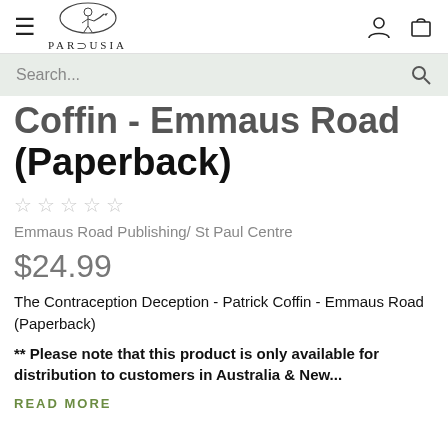Parousia — navigation header with logo, hamburger menu, user icon, cart icon
Search...
Coffin - Emmaus Road (Paperback)
☆ ☆ ☆ ☆ ☆
Emmaus Road Publishing/ St Paul Centre
$24.99
The Contraception Deception - Patrick Coffin - Emmaus Road (Paperback)
** Please note that this product is only available for distribution to customers in Australia & New...
READ MORE